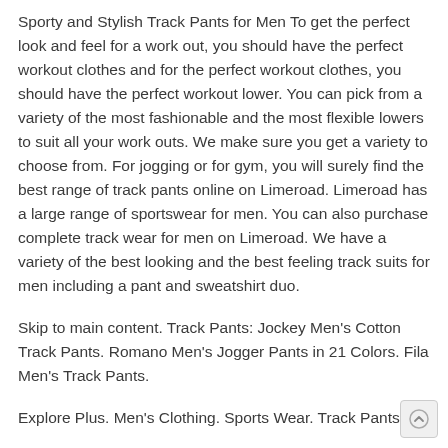Sporty and Stylish Track Pants for Men To get the perfect look and feel for a work out, you should have the perfect workout clothes and for the perfect workout clothes, you should have the perfect workout lower. You can pick from a variety of the most fashionable and the most flexible lowers to suit all your work outs. We make sure you get a variety to choose from. For jogging or for gym, you will surely find the best range of track pants online on Limeroad. Limeroad has a large range of sportswear for men. You can also purchase complete track wear for men on Limeroad. We have a variety of the best looking and the best feeling track suits for men including a pant and sweatshirt duo.
Skip to main content. Track Pants: Jockey Men's Cotton Track Pants. Romano Men's Jogger Pants in 21 Colors. Fila Men's Track Pants.
Explore Plus. Men's Clothing. Sports Wear. Track Pants. Mi...